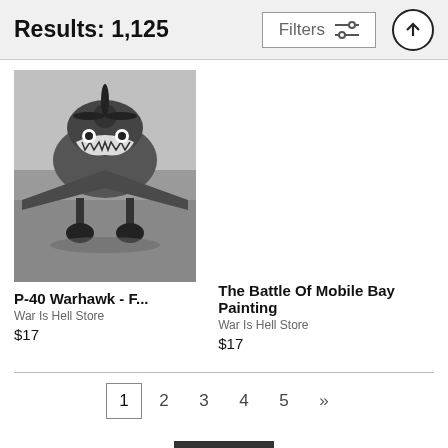Results: 1,125
Filters
[Figure (photo): Black and white photograph of a P-40 Warhawk fighter aircraft, front view showing shark mouth nose art, on the ground with landing gear visible.]
P-40 Warhawk - F...
War Is Hell Store
$17
The Battle Of Mobile Bay Painting
War Is Hell Store
$17
1  2  3  4  5  »